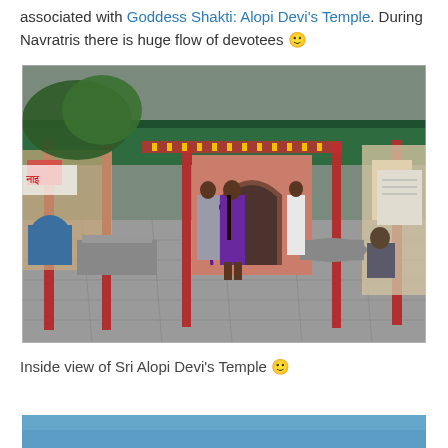associated with Goddess Shakti: Alopi Devi's Temple. During Navratris there is huge flow of devotees 🙂
[Figure (photo): Inside view of Sri Alopi Devi's Temple courtyard showing a woman in a purple saree walking, other devotees, a man sitting on steps, red pillars supporting a green corrugated roof, and a pink arched entrance to the temple in the background.]
Inside view of Sri Alopi Devi's Temple 🙂
[Figure (photo): Partial view of another image, showing a blue/teal colored background at the bottom of the page.]